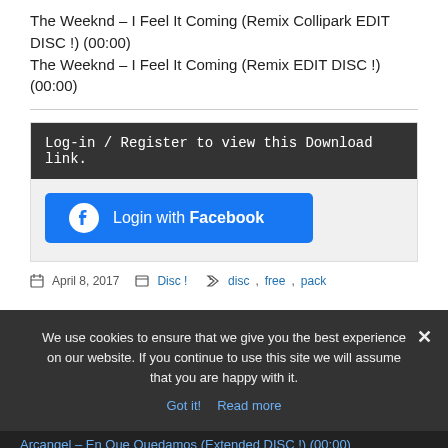The Weeknd – I Feel It Coming (Remix Collipark EDIT DISC !) (00:00)
The Weeknd – I Feel It Coming (Remix EDIT DISC !) (00:00)
Log-in / Register to view this Download link.
[Figure (other): Login with Facebook button in blue with Facebook icon]
April 8, 2017   Disc !   disc, free, pack
We use cookies to ensure that we give you the best experience on our website. If you continue to use this site we will assume that you are happy with it.
Got it!   Read more
Arcangel – En Que Quedamos (Extended DISC !) (00:00)